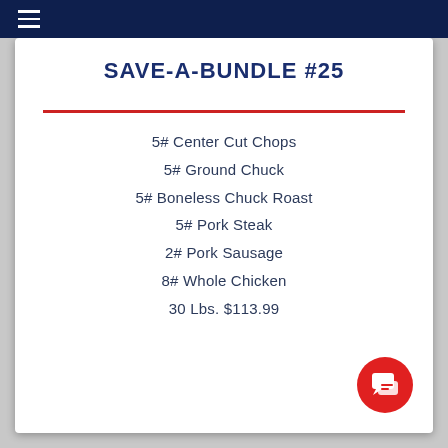SAVE-A-BUNDLE #25
5# Center Cut Chops
5# Ground Chuck
5# Boneless Chuck Roast
5# Pork Steak
2# Pork Sausage
8# Whole Chicken
30 Lbs. $113.99